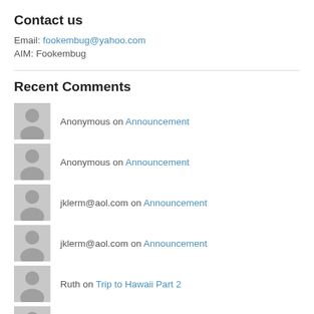Contact us
Email: fookembug@yahoo.com
AIM: Fookembug
Recent Comments
Anonymous on Announcement
Anonymous on Announcement
jklerm@aol.com on Announcement
jklerm@aol.com on Announcement
Ruth on Trip to Hawaii Part 2
Anonymous on Trip to Hawaii Part 3
Chicagoland Deaf Sen… on Trip to Hawaii Part 2